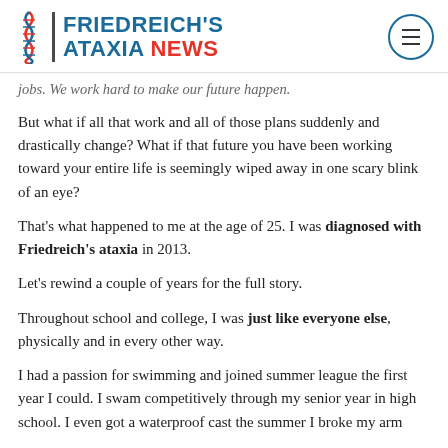FRIEDREICH'S ATAXIA NEWS
jobs. We work hard to make our future happen.
But what if all that work and all of those plans suddenly and drastically change? What if that future you have been working toward your entire life is seemingly wiped away in one scary blink of an eye?
That's what happened to me at the age of 25. I was diagnosed with Friedreich's ataxia in 2013.
Let's rewind a couple of years for the full story.
Throughout school and college, I was just like everyone else, physically and in every other way.
I had a passion for swimming and joined summer league the first year I could. I swam competitively through my senior year in high school. I even got a waterproof cast the summer I broke my arm